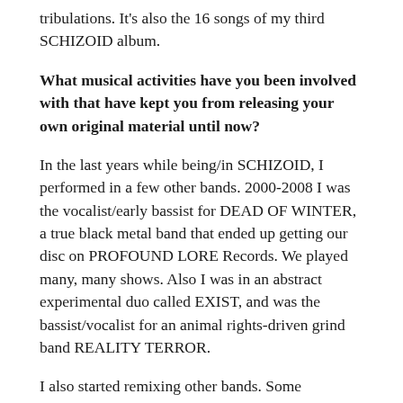tribulations. It's also the 16 songs of my third SCHIZOID album.
What musical activities have you been involved with that have kept you from releasing your own original material until now?
In the last years while being/in SCHIZOID, I performed in a few other bands. 2000-2008 I was the vocalist/early bassist for DEAD OF WINTER, a true black metal band that ended up getting our disc on PROFOUND LORE Records. We played many, many shows. Also I was in an abstract experimental duo called EXIST, and was the bassist/vocalist for an animal rights-driven grind band REALITY TERROR.
I also started remixing other bands. Some exclusively for the bands, such as RED HARVEST